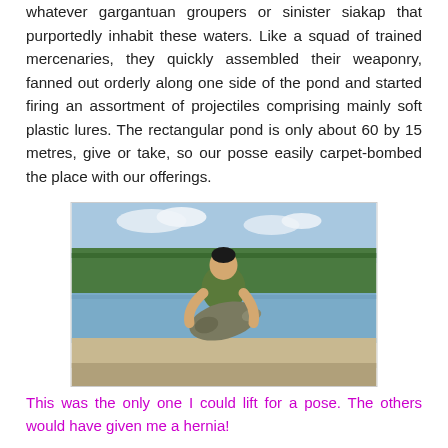whatever gargantuan groupers or sinister siakap that purportedly inhabit these waters. Like a squad of trained mercenaries, they quickly assembled their weaponry, fanned out orderly along one side of the pond and started firing an assortment of projectiles comprising mainly soft plastic lures. The rectangular pond is only about 60 by 15 metres, give or take, so our posse easily carpet-bombed the place with our offerings.
[Figure (photo): A man holding a large fish (grouper) while standing at the edge of a fishing pond, with trees and sky in the background.]
This was the only one I could lift for a pose. The others would have given me a hernia!
Not wanting to squash in with the crowd, I walked over to the opposite bank of the pond. Away from the aerating